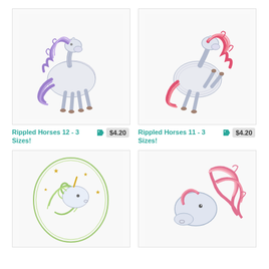[Figure (illustration): Embroidery design of a white horse with flowing purple/lavender mane and tail, prancing pose, rippled line art style]
Rippled Horses 12 - 3 Sizes!
$4.20
[Figure (illustration): Embroidery design of a white horse with flowing pink/red mane and tail, rearing pose, rippled line art style]
Rippled Horses 11 - 3 Sizes!
$4.20
[Figure (illustration): Embroidery design of a white unicorn head with green/yellow swirling mane in oval frame with gold stars]
[Figure (illustration): Embroidery design of a white horse head with flowing pink mane, curly decorative style]